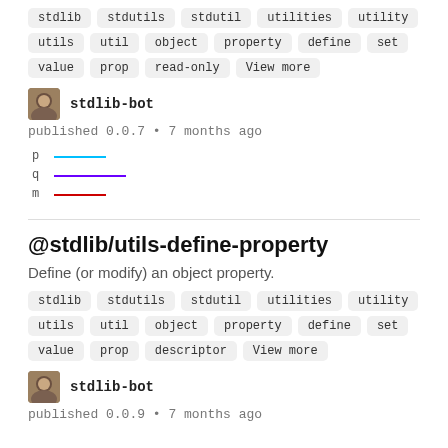stdlib stdutils stdutil utilities utility
utils util object property define set
value prop read-only View more
stdlib-bot
published 0.0.7 • 7 months ago
[Figure (other): Legend showing p (cyan line), q (purple line), m (red line)]
@stdlib/utils-define-property
Define (or modify) an object property.
stdlib stdutils stdutil utilities utility
utils util object property define set
value prop descriptor View more
stdlib-bot
published 0.0.9 • 7 months ago